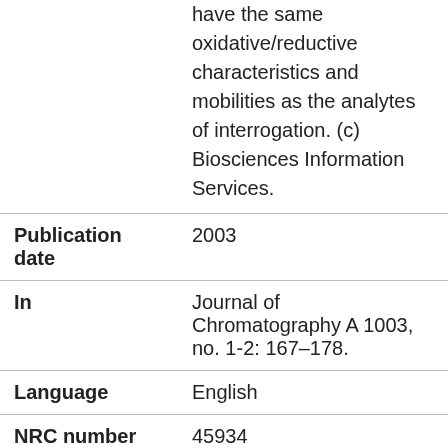|  | have the same oxidative/reductive characteristics and mobilities as the analytes of interrogation. (c) Biosciences Information Services. |
| Publication date | 2003 |
| In | Journal of Chromatography A 1003, no. 1-2: 167–178. |
| Language | English |
| NRC number | 45934 |
| NRARC | 3549267 |